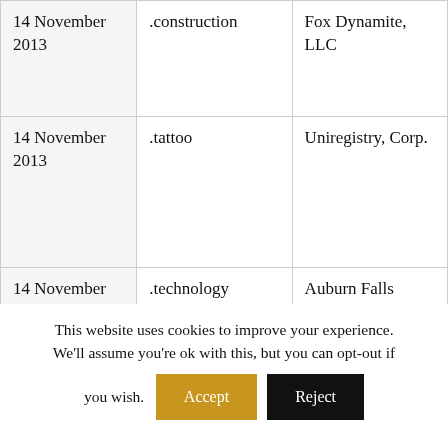| Date | TLD | Registry |
| --- | --- | --- |
| 14 November 2013 | .construction | Fox Dynamite, LLC |
| 14 November 2013 | .tattoo | Uniregistry, Corp. |
| 14 November 2013 | .technology | Auburn Falls |
| 14 November 2013 | .estate | Trixy Park, LLC |
| 14 November 2013 | .land | Pine Moon, LLC |
This website uses cookies to improve your experience. We'll assume you're ok with this, but you can opt-out if you wish. [Accept] [Reject]